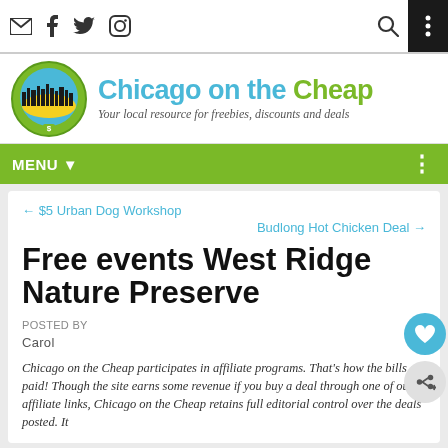Chicago on the Cheap — Your local resource for freebies, discounts and deals
MENU ▼
← $5 Urban Dog Workshop
Budlong Hot Chicken Deal →
Free events West Ridge Nature Preserve
POSTED BY
Carol
Chicago on the Cheap participates in affiliate programs. That's how the bills get paid! Though the site earns some revenue if you buy a deal through one of our affiliate links, Chicago on the Cheap retains full editorial control over the deals posted. It